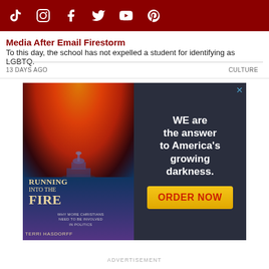Social media icons: TikTok, Instagram, Facebook, Twitter, YouTube, Pinterest
Media After Email Firestorm
To this day, the school has not expelled a student for identifying as LGBTQ.
13 DAYS AGO    CULTURE
[Figure (photo): Advertisement for book 'Running Into the Fire' by Terri Hasdorff. Shows book cover with US Capitol at night with fiery orange sky. Text reads: 'WE are the answer to America's growing darkness. ORDER NOW']
ADVERTISEMENT